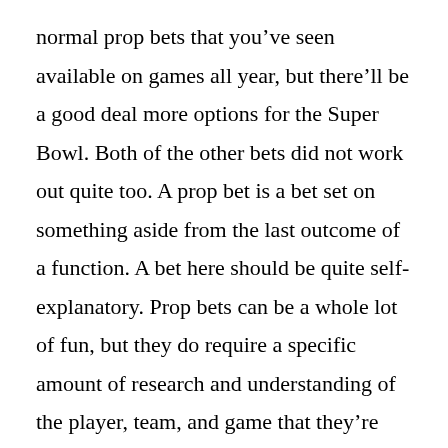normal prop bets that you've seen available on games all year, but there'll be a good deal more options for the Super Bowl. Both of the other bets did not work out quite too. A prop bet is a bet set on something aside from the last outcome of a function. A bet here should be quite self-explanatory. Prop bets can be a whole lot of fun, but they do require a specific amount of research and understanding of the player, team, and game that they're betting on. NFL proposition bets are an excellent method to add excitement to a game past the